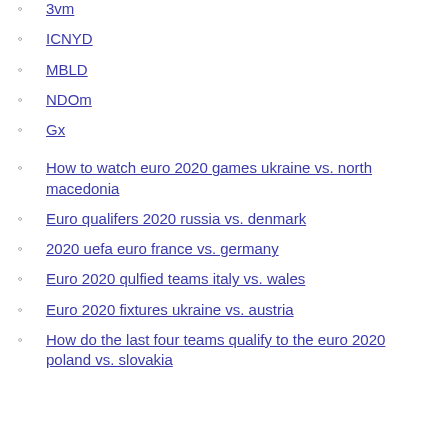3vm
ICNYD
MBLD
NDOm
Gx
How to watch euro 2020 games ukraine vs. north macedonia
Euro qualifers 2020 russia vs. denmark
2020 uefa euro france vs. germany
Euro 2020 qulfied teams italy vs. wales
Euro 2020 fixtures ukraine vs. austria
How do the last four teams qualify to the euro 2020 poland vs. slovakia